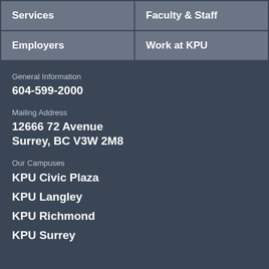| Services | Faculty & Staff |
| --- | --- |
| Employers | Work at KPU |
General Information
604-599-2000
Mailing Address
12666 72 Avenue
Surrey, BC V3W 2M8
Our Campuses
KPU Civic Plaza
KPU Langley
KPU Richmond
KPU Surrey